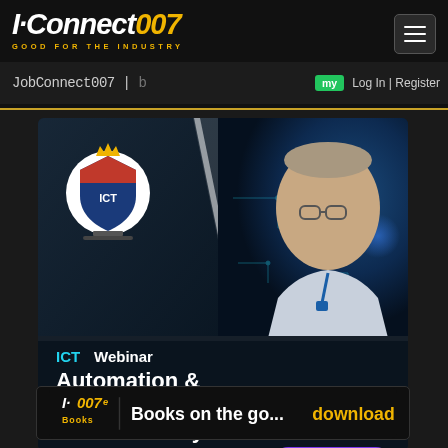I-Connect007 — GOOD FOR THE INDUSTRY
JobConnect007 | my Log In | Register
[Figure (infographic): ICT Webinar promotional banner: Automation & the Journey to the Smart Factory, Presented by Happy Holden, with MORE INFO button. Features ICT shield logo, person photo, and circuit board background.]
[Figure (infographic): I-007e Books banner: Books on the go... download now!]